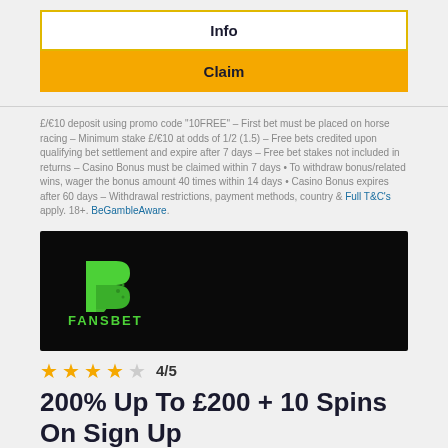Info
Claim
£/€10 deposit using promo code "10FREE" - First bet must be placed on horse racing - Minimum stake £/€10 at odds of 1/2 (1.5) - Free bets credited upon qualifying bet settlement and expire after 7 days - Free bet stakes not included in returns - Casino Bonus must be claimed within 7 days • To withdraw bonus/related wins, wager the bonus amount 40 times within 14 days • Casino Bonus expires after 60 days - Withdrawal restrictions, payment methods, country & Full T&C's apply. 18+. BeGambleAware.
[Figure (logo): FansBet logo on black background - green stylized B letter with FANSBET text below in green]
4/5
200% Up To £200 + 10 Spins On Sign Up
Info
Claim